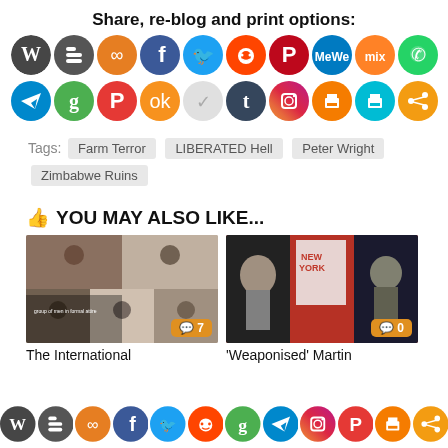Share, re-blog and print options:
[Figure (infographic): Two rows of social media share icons: WordPress, Blogger, Copy link, Facebook, Twitter, Reddit, Pinterest, MeWe, Mix, WhatsApp (row 1); Telegram, Goodreads, Parler, Odnoklassniki, Pocket, Tumblr, Instagram, Print, Print(teal), Share (row 2)]
Tags:  Farm Terror   LIBERATED Hell   Peter Wright   Zimbabwe Ruins
👍 YOU MAY ALSO LIKE...
[Figure (photo): Collage of group photos with men in formal attire, with comment bubble showing 7]
[Figure (photo): Collage including Karl Marx, New York magazine cover, football players, Stalin; comment bubble showing 0]
The International
'Weaponised' Martin
[Figure (infographic): Bottom floating share bar with social media icons: WordPress, Blogger, Copy link, Facebook, Twitter, Reddit, Goodreads, Telegram, Instagram, Parler, Print, Share]